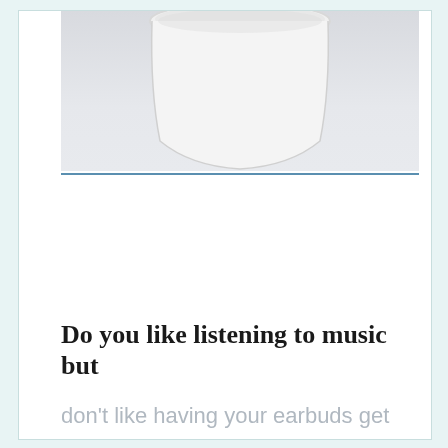[Figure (photo): Partial view of a white ceramic cup or bowl against a light gray/white background, cropped at the top of the page]
Do you like listening to music but
don't like having your earbuds get